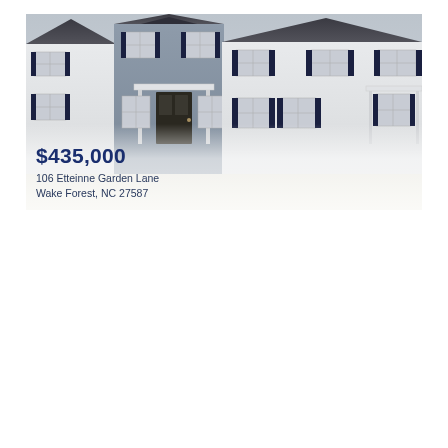[Figure (photo): Exterior photo of a multi-unit townhouse row with grey and white siding, dark shutters, and covered entries. Two-story structure with pitched roofline.]
$435,000
106 Etteinne Garden Lane
Wake Forest, NC 27587